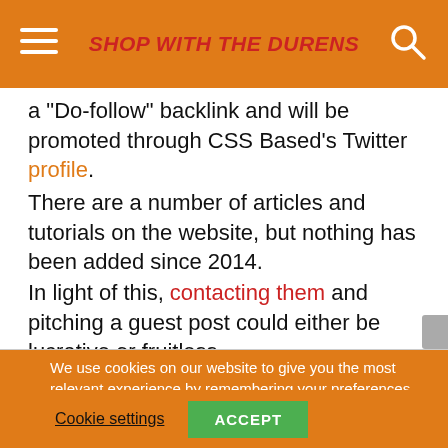SHOP WITH THE DURENS
a "Do-follow" backlink and will be promoted through CSS Based's Twitter profile.
There are a number of articles and tutorials on the website, but nothing has been added since 2014.
In light of this, contacting them and pitching a guest post could either be lucrative or fruitless.
We use cookies on our website to give you the most relevant experience by remembering your preferences and repeat visits.
Cookie settings  ACCEPT